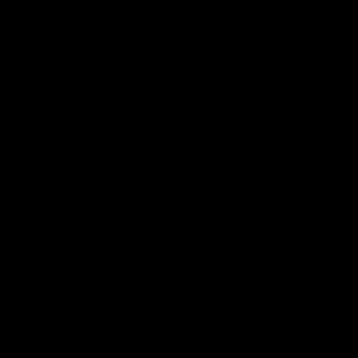[Figure (photo): Completely black/dark image page with no discernible content visible.]